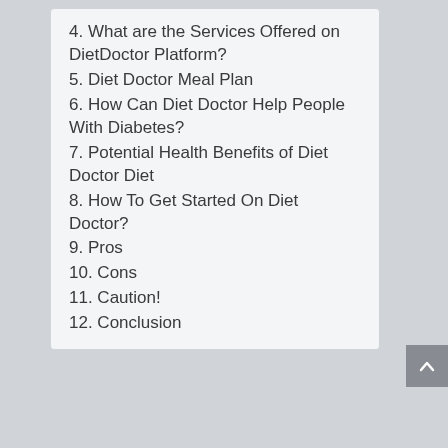4. What are the Services Offered on DietDoctor Platform?
5. Diet Doctor Meal Plan
6. How Can Diet Doctor Help People With Diabetes?
7. Potential Health Benefits of Diet Doctor Diet
8. How To Get Started On Diet Doctor?
9. Pros
10. Cons
11. Caution!
12. Conclusion